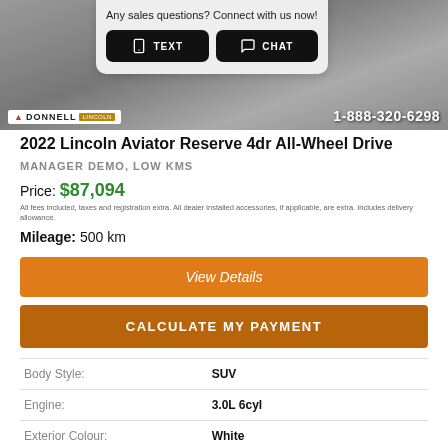[Figure (photo): Car dealership photo of a Lincoln Aviator vehicle, partially obscured by a chat popup. Dealer logo 'DONNELL LINCOLN' visible bottom-left, phone number '1-888-320-6298' bottom-right.]
Any sales questions? Connect with us now!
TEXT  CHAT
2022 Lincoln Aviator Reserve 4dr All-Wheel Drive
MANAGER DEMO, LOW KMS
Price: $87,094
All fees included, taxes and registration extra. All dealer installed accessories, if applicable, are extra. Includes delivery allowance.
Mileage: 500 km
View Details
CALCULATE MY PAYMENT
|  |  |
| --- | --- |
| Body Style: | SUV |
| Engine: | 3.0L 6cyl |
| Exterior Colour: | White |